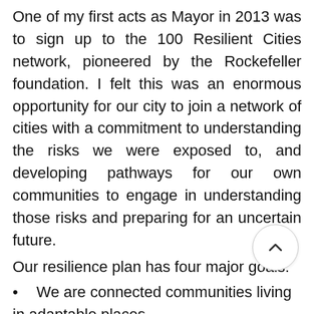One of my first acts as Mayor in 2013 was to sign up to the 100 Resilient Cities network, pioneered by the Rockefeller foundation. I felt this was an enormous opportunity for our city to join a network of cities with a commitment to understanding the risks we were exposed to, and developing pathways for our own communities to engage in understanding those risks and preparing for an uncertain future.
Our resilience plan has four major goals:
We are connected communities living in adaptable places
We are a community that participates in shaping our future
We are prosperous by sustaining the